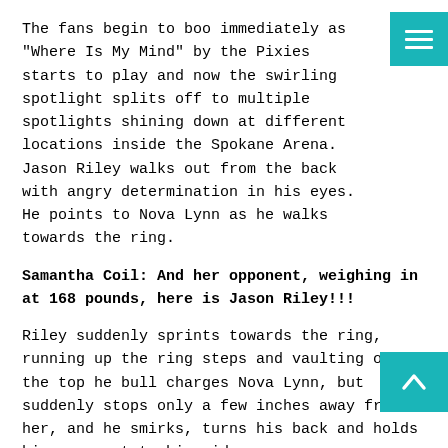The fans begin to boo immediately as "Where Is My Mind" by the Pixies starts to play and now the swirling spotlight splits off to multiple spotlights shining down at different locations inside the Spokane Arena.  Jason Riley walks out from the back with angry determination in his eyes.  He points to Nova Lynn as he walks towards the ring.
Samantha Coil: And her opponent, weighing in at 168 pounds, here is Jason Riley!!!
Riley suddenly sprints towards the ring, running up the ring steps and vaulting over the top he bull charges Nova Lynn, but suddenly stops only a few inches away from her, and he smirks, turns his back and holds his arms out to his side.
Dave Dymond: Riley trying to maybe intimidate Nova Lynn there, but it doesn't seem like it quite worked.